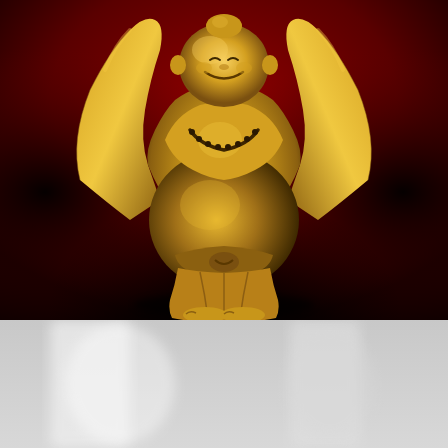[Figure (photo): A golden laughing Buddha (Budai/Hotei) statue with arms raised above its head, wearing flowing robes and a bead necklace, with a large round belly, photographed against a deep red and dark background. The statue is highly reflective gold-colored metal or resin.]
[Figure (photo): A blurred, out-of-focus image showing soft white and grey tones, possibly part of a room interior or fabric, serving as a background element beneath the main Buddha statue image.]